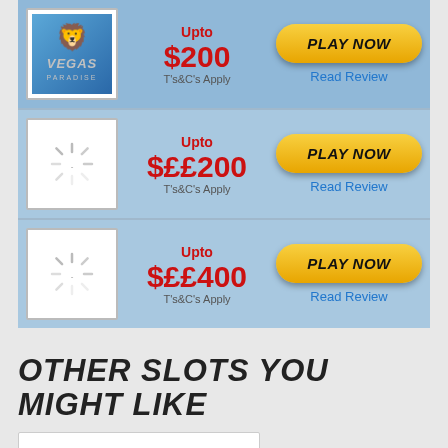[Figure (screenshot): Casino listing card 1 - Vegas Paradise logo with Upto $200 offer and Play Now button]
Upto $200 T's&C's Apply
Read Review
[Figure (screenshot): Casino listing card 2 - loading spinner with Upto $££200 offer and Play Now button]
Upto $££200 T's&C's Apply
Read Review
[Figure (screenshot): Casino listing card 3 - loading spinner with Upto $££400 offer and Play Now button]
Upto $££400 T's&C's Apply
Read Review
OTHER SLOTS YOU MIGHT LIKE
[Figure (screenshot): Partial white card at bottom of page]